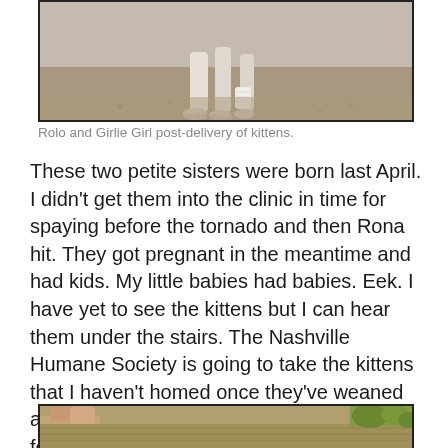[Figure (photo): Photo of cats (Rolo and Girlie Girl) post-delivery of kittens, showing legs/paws on a concrete/sandy surface]
Rolo and Girlie Girl post-delivery of kittens.
These two petite sisters were born last April. I didn't get them into the clinic in time for spaying before the tornado and then Rona hit. They got pregnant in the meantime and had kids. My little babies had babies. Eek. I have yet to see the kittens but I can hear them under the stairs. The Nashville Humane Society is going to take the kittens that I haven't homed once they've weaned and socialized. As for the mamas, Rolo has found herself a home with my girl Rocky Ryan! We're gonna meet up for the pussy exchange when it's safe.
[Figure (photo): Partial photo at bottom showing outdoor scene with wooden surface and greenery]